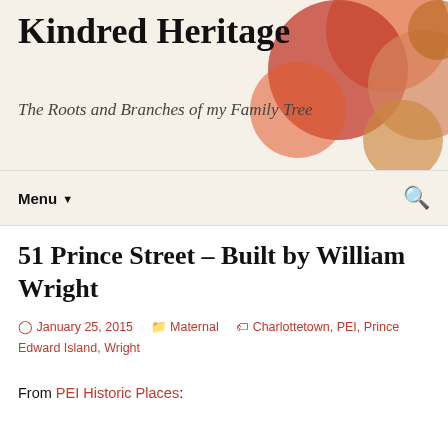Kindred Heritage — The Roots and Branches of my Family Tree
51 Prince Street – Built by William Wright
January 25, 2015 | Maternal | Charlottetown, PEI, Prince Edward Island, Wright
From PEI Historic Places: